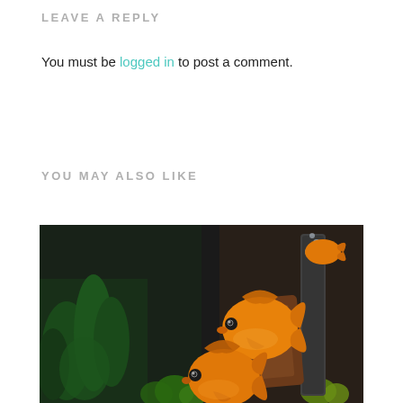LEAVE A REPLY
You must be logged in to post a comment.
YOU MAY ALSO LIKE
[Figure (photo): Two orange goldfish swimming in an aquarium with green plants and decorations, with a label 'Top Posts' in the upper left corner of the image.]